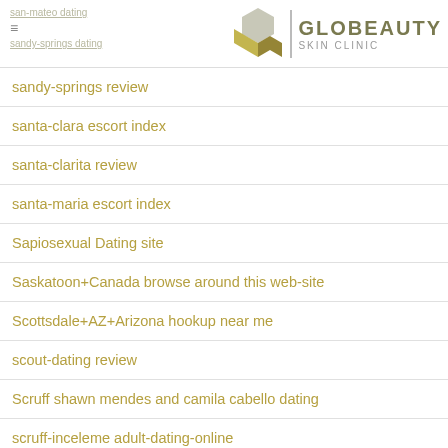GLOBEAUTY SKIN CLINIC
sandy-springs review
santa-clara escort index
santa-clarita review
santa-maria escort index
Sapiosexual Dating site
Saskatoon+Canada browse around this web-site
Scottsdale+AZ+Arizona hookup near me
scout-dating review
Scruff shawn mendes and camila cabello dating
scruff-inceleme adult-dating-online